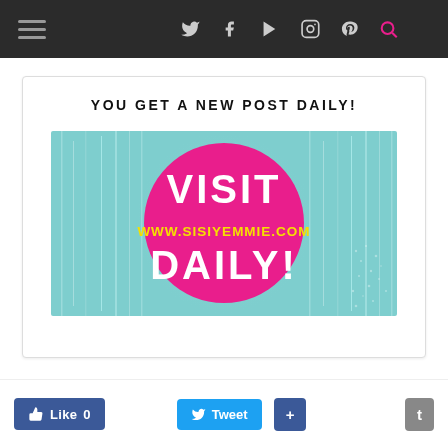Navigation bar with hamburger menu and social icons: Twitter, Facebook, YouTube, Instagram, Pinterest, Search
YOU GET A NEW POST DAILY!
[Figure (illustration): Banner image with teal/cyan light-streak background and a large hot pink circle in the center containing white text 'VISIT' and 'DAILY!' with yellow text 'WWW.SISIYEMMIE.COM' in the middle of the circle.]
Like 0  Tweet  +  t